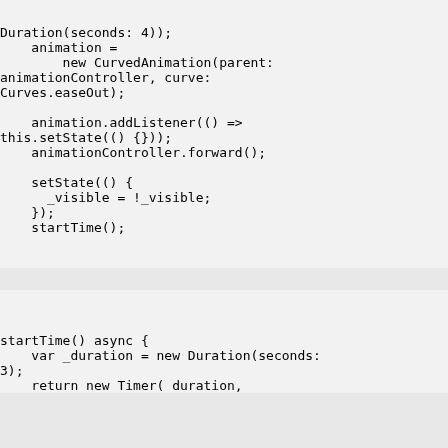Duration(seconds: 4));
    animation =
        new CurvedAnimation(parent:
animationController, curve:
Curves.easeOut);

    animation.addListener(() =>
this.setState(() {}));
    animationController.forward();

    setState(() {
      _visible = !_visible;
    });
    startTime();
startTime() async {
    var _duration = new Duration(seconds:
3);
    return new Timer( duration,